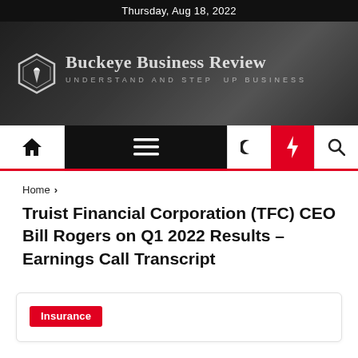Thursday, Aug 18, 2022
[Figure (logo): Buckeye Business Review banner with handshake background image and hexagon logo. Tagline: UNDERSTAND AND STEP UP BUSINESS]
[Figure (screenshot): Navigation bar with home icon, hamburger menu, dark mode toggle, lightning bolt (red), and search icon]
Home > Truist Financial Corporation (TFC) CEO Bill Rogers on Q1 2022 Results – Earnings Call Transcript
Truist Financial Corporation (TFC) CEO Bill Rogers on Q1 2022 Results – Earnings Call Transcript
Insurance